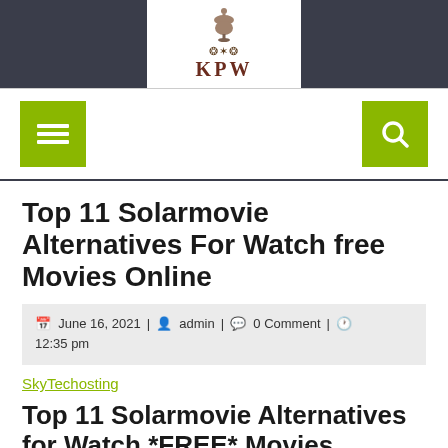[Figure (logo): KPW logo with dress form icon and decorative scroll, white background on dark header]
[Figure (screenshot): Navigation bar with green hamburger menu button on left and green search button on right]
Top 11 Solarmovie Alternatives For Watch free Movies Online
June 16, 2021 | admin | 0 Comment | 12:35 pm
SkyTechosting
Top 11 Solarmovie Alternatives for Watch *FREE* Movies...